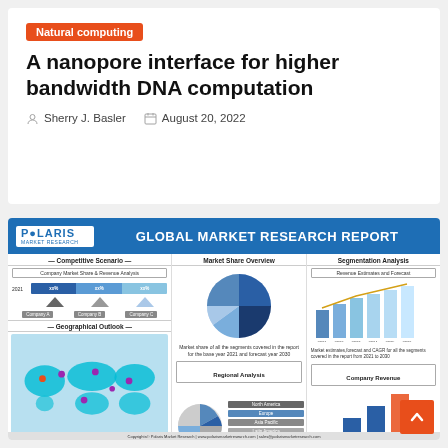Natural computing
A nanopore interface for higher bandwidth DNA computation
Sherry J. Basler   August 20, 2022
[Figure (infographic): Polaris Market Research - Global Market Research Report infographic showing competitive scenario with company market share bar chart, geographical outlook world map, market share overview pie chart, regional analysis pie chart with region labels (North America, Europe, Asia Pacific, Latin America, Middle East Africa), segmentation analysis bar chart with revenue estimates and forecast 2021-2026, and company revenue bar chart.]